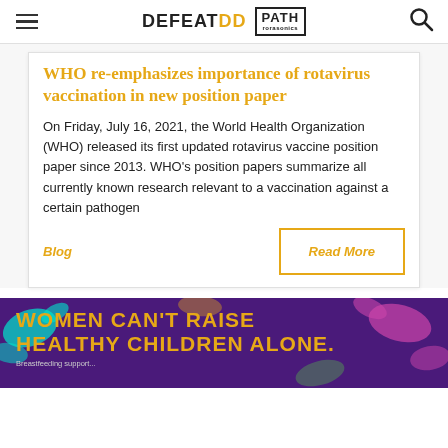DEFEATDD | PATH
WHO re-emphasizes importance of rotavirus vaccination in new position paper
On Friday, July 16, 2021, the World Health Organization (WHO) released its first updated rotavirus vaccine position paper since 2013. WHO's position papers summarize all currently known research relevant to a vaccination against a certain pathogen
Blog
Read More
[Figure (illustration): Banner image with purple background and colorful paint splashes, bold orange text reading 'WOMEN CAN'T RAISE HEALTHY CHILDREN ALONE.' with small text below about breastfeeding support]